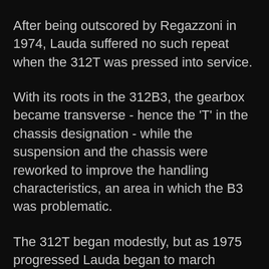After being outscored by Regazzoni in 1974, Lauda suffered no such repeat when the 312T was pressed into service.
With its roots in the 312B3, the gearbox became transverse - hence the 'T' in the chassis designation - while the suspension and the chassis were reworked to improve the handling characteristics, an area in which the B3 was problematic.
The 312T began modestly, but as 1975 progressed Lauda began to march towards the title - winning five races en route.
1976 began with far more promise, and the 312T2 was introduced after the high, slender airboxes were